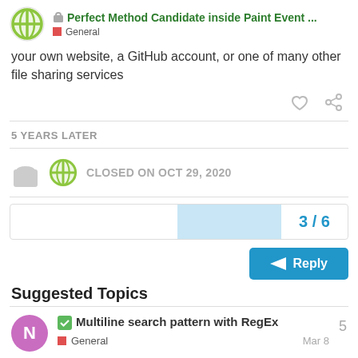Perfect Method Candidate inside Paint Event ... General
your own website, a GitHub account, or one of many other file sharing services
5 YEARS LATER
CLOSED ON OCT 29, 2020
3 / 6
Suggested Topics
Multiline search pattern with RegEx
General
Mar 8
5